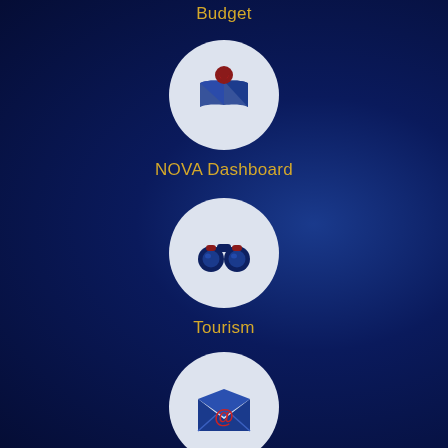[Figure (infographic): Navigation menu with circular icons on a dark navy blue gradient background. Partially visible Budget icon at top. NOVA Dashboard icon (map pin with open book/map). Tourism icon (binoculars). E-Newsletter icon (envelope with @ symbol).]
Budget
NOVA Dashboard
Tourism
E-Newsletter